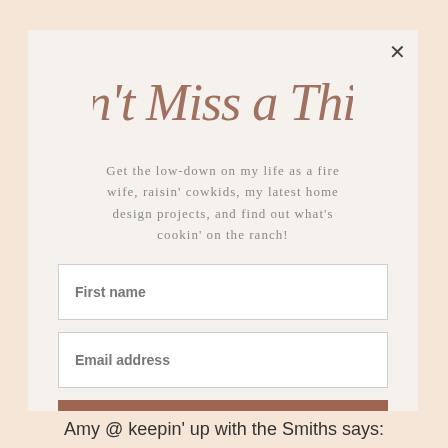Don't Miss a Thing!
Get the low-down on my life as a fire wife, raisin' cowkids, my latest home design projects, and find out what's cookin' on the ranch!
First name
Email address
JOIN THE HERD
Amy @ keepin' up with the Smiths says: